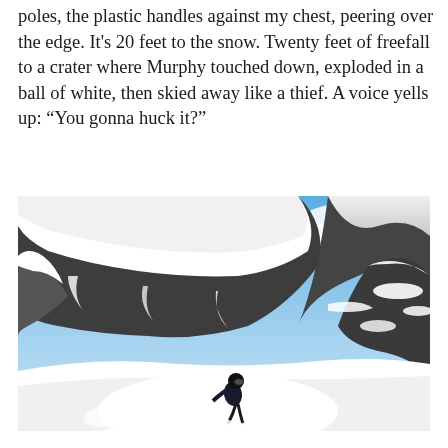poles, the plastic handles against my chest, peering over the edge. It's 20 feet to the snow. Twenty feet of freefall to a crater where Murphy touched down, exploded in a ball of white, then skied away like a thief. A voice yells up: “You gonna huck it?”
[Figure (photo): A skier in dark gear skiing through deep powder snow with large snow-capped rocks and boulders in the background, bare trees and a bright blue sky visible above.]